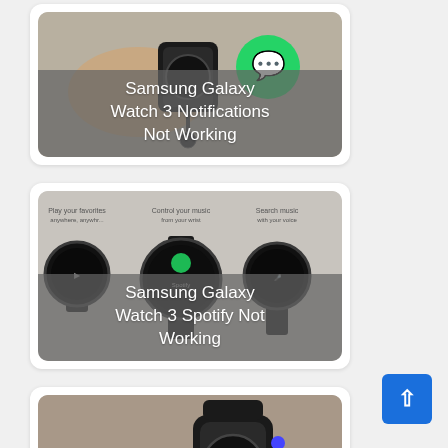[Figure (photo): Samsung Galaxy Watch 3 with WhatsApp notification icon, card thumbnail with overlay text]
Samsung Galaxy Watch 3 Notifications Not Working
[Figure (photo): Three Samsung Galaxy Watch 3 smartwatches showing Spotify music app screens]
Samsung Galaxy Watch 3 Spotify Not Working
[Figure (photo): Samsung Galaxy Watch 3 showing heart rate monitor screen with finger pressing button]
Samsung Galaxy Watch 3 Heart Rate Monitor Not Working